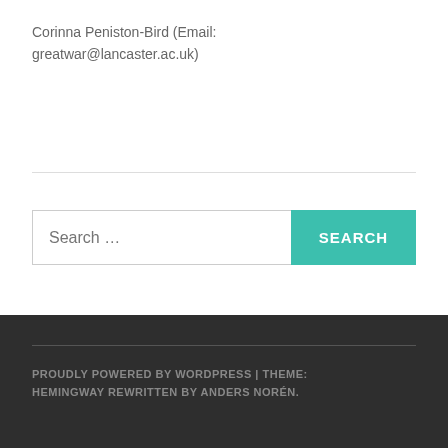Corinna Peniston-Bird (Email: greatwar@lancaster.ac.uk)
[Figure (other): Search bar with input field placeholder 'Search ...' and a teal 'SEARCH' button]
PROUDLY POWERED BY WORDPRESS | THEME: HEMINGWAY REWRITTEN BY ANDERS NORÉN.